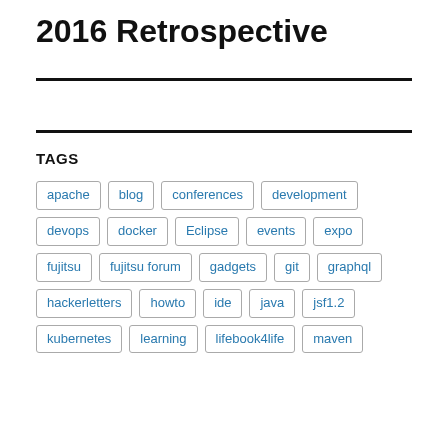2016 Retrospective
TAGS
apache
blog
conferences
development
devops
docker
Eclipse
events
expo
fujitsu
fujitsu forum
gadgets
git
graphql
hackerletters
howto
ide
java
jsf1.2
kubernetes
learning
lifebook4life
maven